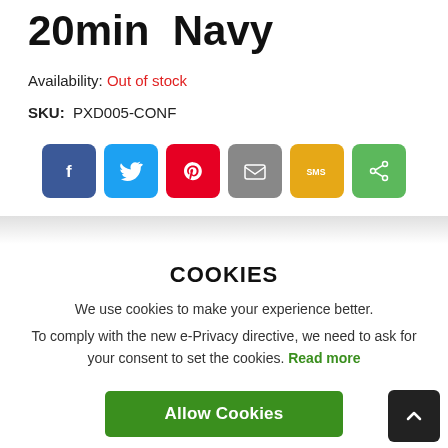20min  Navy
Availability: Out of stock
SKU:  PXD005-CONF
[Figure (other): Row of 6 social share buttons: Facebook (blue), Twitter (light blue), Pinterest (red), Email (gray), SMS (yellow/orange), Share (green)]
COOKIES
We use cookies to make your experience better.
To comply with the new e-Privacy directive, we need to ask for your consent to set the cookies. Read more
Allow Cookies